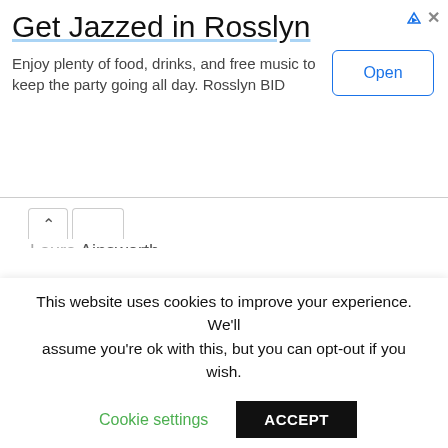[Figure (screenshot): Advertisement banner: 'Get Jazzed in Rosslyn' with Open button, ad icons (triangle, X)]
Laura Ainsworth
Pat Reeder
webmaster@lauraainsworth.com
Links:
Facebook: https://www.facebook.com/lauraainsworthsings
Twitter: https://twitter.com/LauraAinsworth1
YouTube: https://youtube.com/playlist?
list=PLB2B2CAC7BE3A4961
This website uses cookies to improve your experience. We'll assume you're ok with this, but you can opt-out if you wish.
Cookie settings   ACCEPT